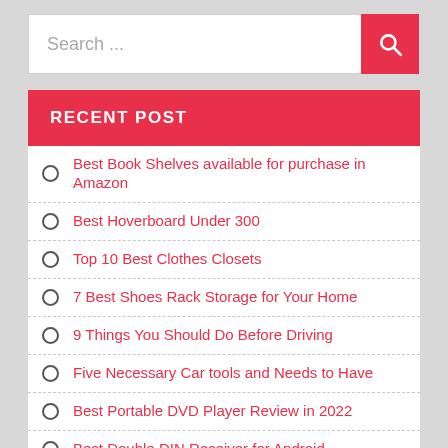Search ...
RECENT POST
Best Book Shelves available for purchase in Amazon
Best Hoverboard Under 300
Top 10 Best Clothes Closets
7 Best Shoes Rack Storage for Your Home
9 Things You Should Do Before Driving
Five Necessary Car tools and Needs to Have
Best Portable DVD Player Review in 2022
Best Double DIN Receiver for Android
Best Double Din Car Stereo Under 200
Best Wireless Routers Under $50 in 2022